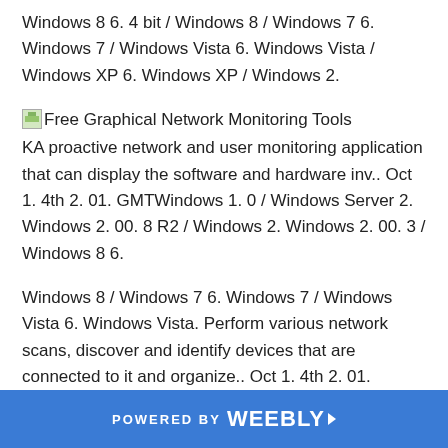Windows 8 6. 4 bit / Windows 8 / Windows 7 6. Windows 7 / Windows Vista 6. Windows Vista / Windows XP 6. Windows XP / Windows 2.
[Figure (illustration): Small icon placeholder image next to section title]
Free Graphical Network Monitoring Tools
KA proactive network and user monitoring application that can display the software and hardware inv.. Oct 1. 4th 2. 01. GMTWindows 1. 0 / Windows Server 2. Windows 2. 00. 8 R2 / Windows 2. Windows 2. 00. 3 / Windows 8 6.
Windows 8 / Windows 7 6. Windows 7 / Windows Vista 6. Windows Vista. Perform various network scans, discover and identify devices that are connected to it and organize.. Oct 1. 4th 2. 01. GMTWindows 1. 0 6. Windows 1. 0 / Windows 2. Windows 2. 00. 3 / Windows 8 6.
Windows 8 / Windows 7 6. Windows 7 / Windows Vista 6. Windows Vista. Windows XP 6. Windows XP /
POWERED BY weebly